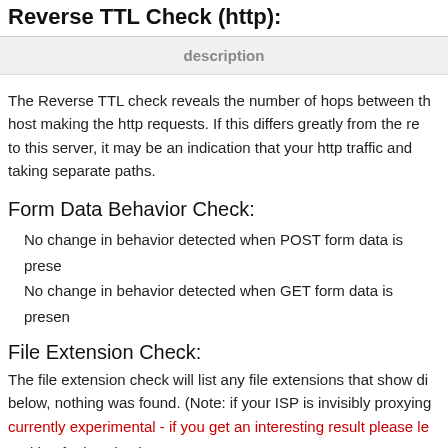Reverse TTL Check (http):
| description |
| --- |
The Reverse TTL check reveals the number of hops between the host making the http requests. If this differs greatly from the response to this server, it may be an indication that your http traffic and taking separate paths.
Form Data Behavior Check:
No change in behavior detected when POST form data is present.
No change in behavior detected when GET form data is present.
File Extension Check:
The file extension check will list any file extensions that show differences below, nothing was found. (Note: if your ISP is invisibly proxying currently experimental - if you get an interesting result please let us know.)
Waiting for iso check...
Waiting for toast check...